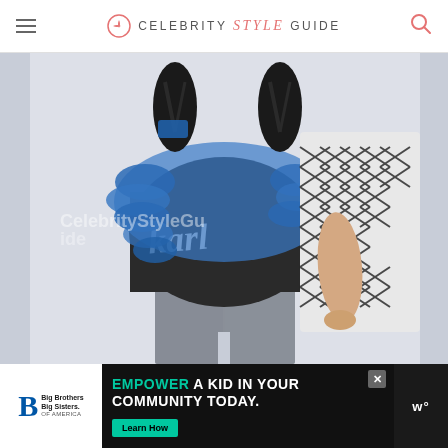Celebrity Style Guide
[Figure (photo): A person wearing a dark graphic t-shirt with cursive 'Karl' text, blue ruffled scarf/jacket layer, and a black and white chevron/herringbone pattern jacket. They are wearing grey jeans. The photo shows them from neck to mid-thigh against a light background. A CelebrityStyleGuide watermark is visible across the image.]
EMPOWER A KID IN YOUR COMMUNITY TODAY.
Big Brothers Big Sisters of America
Learn How